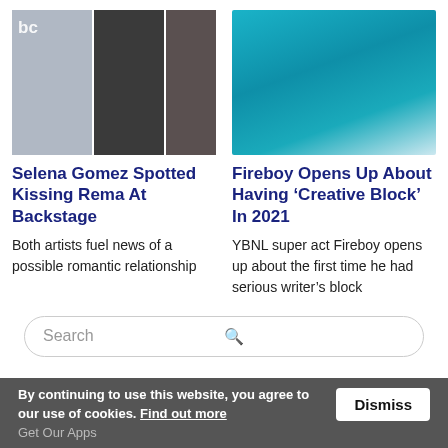[Figure (photo): Collage of three photos: Selena Gomez in green dress with ABC logo, couple kissing, and Rema shirtless in pink headwrap]
Selena Gomez Spotted Kissing Rema At Backstage
Both artists fuel news of a possible romantic relationship
[Figure (photo): Photo of Fireboy DML in blue shirt with orange-tipped dreadlocks, looking at camera]
Fireboy Opens Up About Having ‘Creative Block’ In 2021
YBNL super act Fireboy opens up about the first time he had serious writer’s block
Search
By continuing to use this website, you agree to our use of cookies. Find out more  Dismiss
Get Our Apps